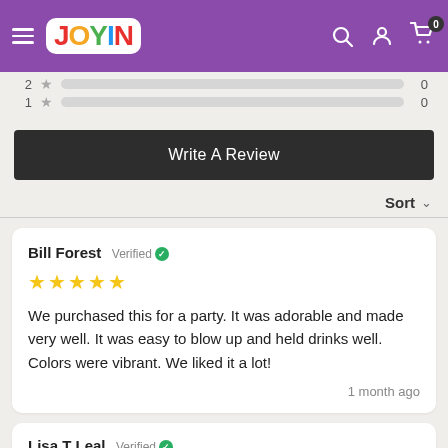[Figure (screenshot): Joyin website header with purple background, hamburger menu, Joyin logo, search icon, user icon, and cart icon with badge showing 0]
2 ★ [bar] 0
1 ★ [bar] 0
Write A Review
Sort
Bill Forest Verified ✓
★★★★★
We purchased this for a party. It was adorable and made very well. It was easy to blow up and held drinks well. Colors were vibrant. We liked it a lot!
1 month ago
Lisa T Leal Verified ✓